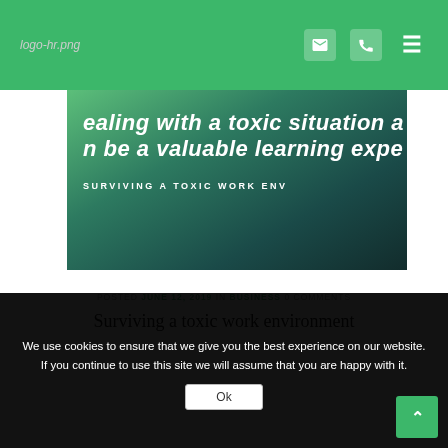logo-hr.png [navigation bar with mail, phone, menu icons]
[Figure (photo): Blog hero image with dark green teal overlay showing laptop and phone on desk. Text overlay reads: 'ealing with a toxic situation a n be a valuable learning expe' and subtitle 'SURVIVING A TOXIC WORK ENV']
POSTED JUNE 12, 2019 IN BUSINESS 0 COMMENTS
Surviving a toxic work environment
We use cookies to ensure that we give you the best experience on our website. If you continue to use this site we will assume that you are happy with it.
Ok